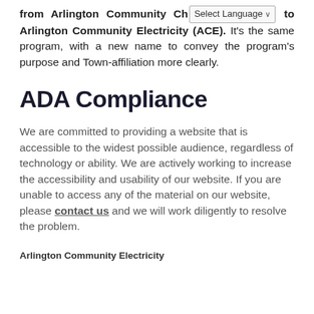from Arlington Community Ch [Select Language] to Arlington Community Electricity (ACE). It's the same program, with a new name to convey the program's purpose and Town-affiliation more clearly.
ADA Compliance
We are committed to providing a website that is accessible to the widest possible audience, regardless of technology or ability. We are actively working to increase the accessibility and usability of our website. If you are unable to access any of the material on our website, please contact us and we will work diligently to resolve the problem.
Arlington Community Electricity